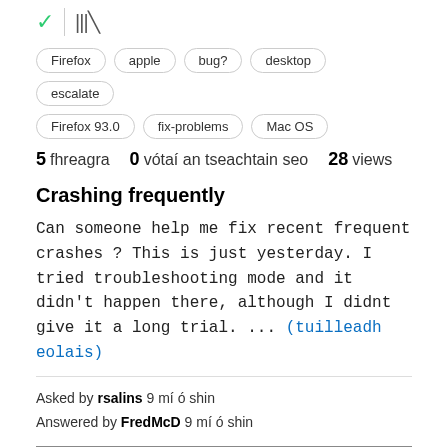[Figure (other): Check icon (green checkmark) and book/library icon separated by a vertical divider]
Firefox
apple
bug?
desktop
escalate
Firefox 93.0
fix-problems
Mac OS
5 fhreagra   0 vótaí an tseachtain seo   28 views
Crashing frequently
Can someone help me fix recent frequent crashes ? This is just yesterday. I tried troubleshooting mode and it didn't happen there, although I didnt give it a long trial. ... (tuilleadh eolais)
Asked by rsalins 9 mí ó shin
Answered by FredMcD 9 mí ó shin